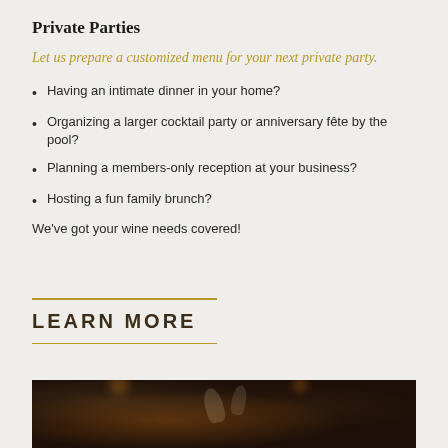Private Parties
Let us prepare a customized menu for your next private party.
Having an intimate dinner in your home?
Organizing a larger cocktail party or anniversary fête by the pool?
Planning a members-only reception at your business?
Hosting a fun family brunch?
We've got your wine needs covered!
LEARN MORE
[Figure (photo): Dark atmospheric photo of wine glasses clinking, with warm bokeh lighting in the background]